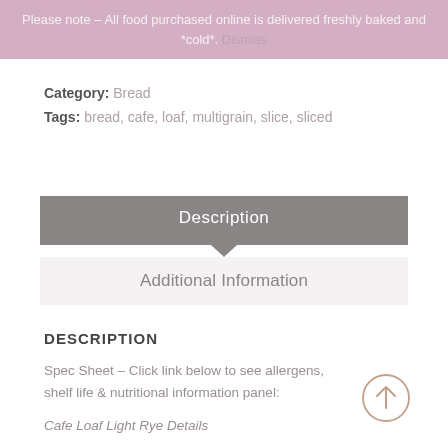Please note – All food purchased online is delivered freshly baked and *cold*. Dismiss
Category: Bread
Tags: bread, cafe, loaf, multigrain, slice, sliced
Description
Additional Information
DESCRIPTION
Spec Sheet – Click link below to see allergens, shelf life & nutritional information panel:
Cafe Loaf Light Rye Details